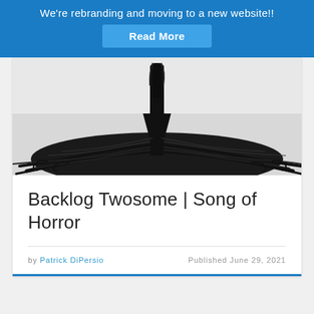We're rebranding and moving to a new website!! Read More
[Figure (photo): Black and white photograph of dark tree roots spreading outward from a central trunk against a light background, creating an eerie horror-themed image]
Backlog Twosome | Song of Horror
by Patrick DiPersio   Published June 29, 2021